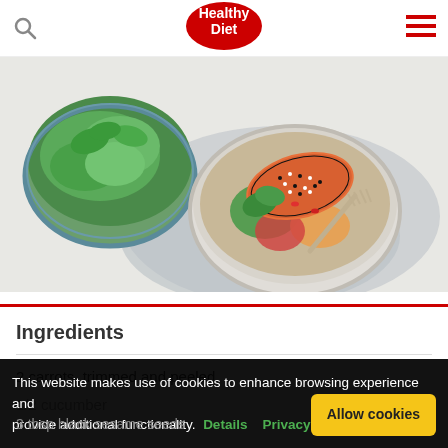Healthy Diet
[Figure (photo): Overhead view of a salmon poke bowl with sesame-crusted salmon, vegetables, herbs, and a fork, alongside a bowl of fresh greens on a light background with a grey cloth napkin]
Ingredients
2 carrots, trimmed and peeled
1/2 cucumber
3 tbsp black sesame seeds
This website makes use of cookies to enhance browsing experience and provide additional functionality. Details  Privacy policy  Allow cookies